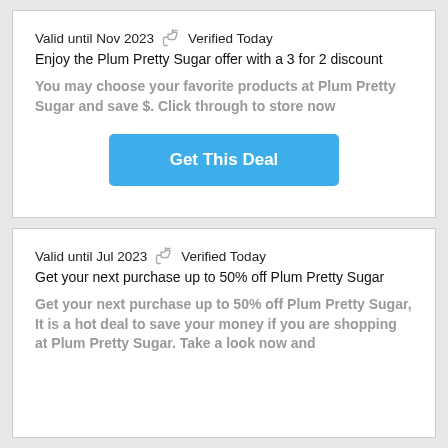Valid until Nov 2023   👍  Verified Today
Enjoy the Plum Pretty Sugar offer with a 3 for 2 discount
You may choose your favorite products at Plum Pretty Sugar and save $. Click through to store now
[Figure (other): Blue 'Get This Deal' button]
Valid until Jul 2023   👍  Verified Today
Get your next purchase up to 50% off Plum Pretty Sugar
Get your next purchase up to 50% off Plum Pretty Sugar, It is a hot deal to save your money if you are shopping at Plum Pretty Sugar. Take a look now and